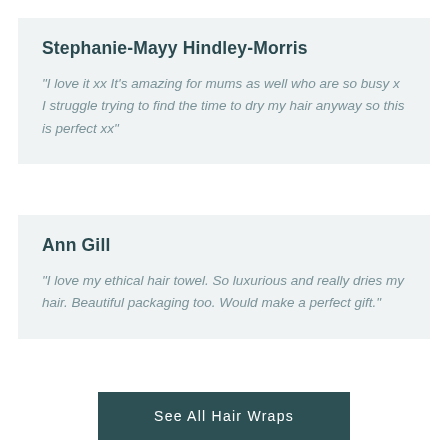Stephanie-Mayy Hindley-Morris
"I love it xx It's amazing for mums as well who are so busy x I struggle trying to find the time to dry my hair anyway so this is perfect xx"
Ann Gill
"I love my ethical hair towel. So luxurious and really dries my hair. Beautiful packaging too. Would make a perfect gift."
See All Hair Wraps